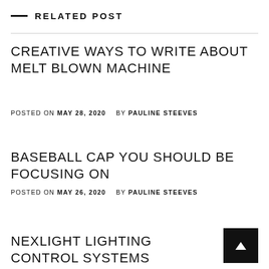— RELATED POST
CREATIVE WAYS TO WRITE ABOUT MELT BLOWN MACHINE
POSTED ON MAY 28, 2020    BY PAULINE STEEVES
BASEBALL CAP YOU SHOULD BE FOCUSING ON
POSTED ON MAY 26, 2020    BY PAULINE STEEVES
NEXLIGHT LIGHTING CONTROL SYSTEMS